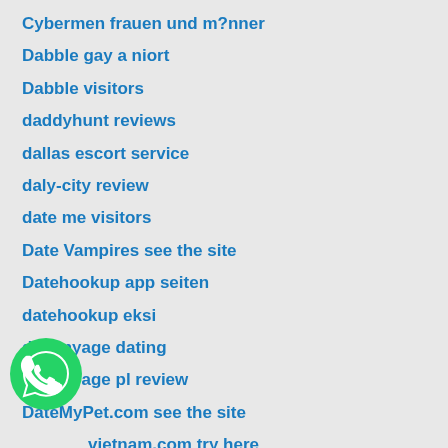Cybermen frauen und m?nner
Dabble gay a niort
Dabble visitors
daddyhunt reviews
dallas escort service
daly-city review
date me visitors
Date Vampires see the site
Datehookup app seiten
datehookup eksi
datemyage dating
datemyage pl review
DateMyPet.com see the site
vietnam.com try here
datierung-nach-alter bewertung
[Figure (logo): WhatsApp green phone icon logo]